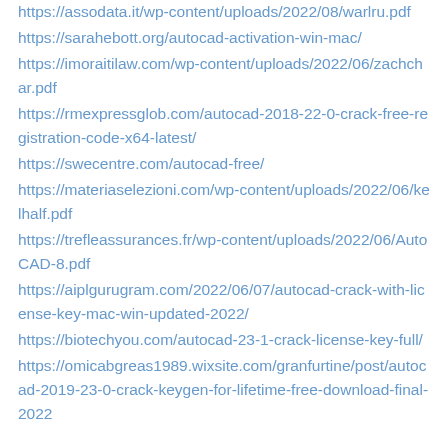https://assodata.it/wp-content/uploads/2022/08/warlru.pdf
https://sarahebott.org/autocad-activation-win-mac/
https://imoraitilaw.com/wp-content/uploads/2022/06/zachchar.pdf
https://rmexpressglob.com/autocad-2018-22-0-crack-free-registration-code-x64-latest/
https://swecentre.com/autocad-free/
https://materiaselezioni.com/wp-content/uploads/2022/06/kelhalf.pdf
https://trefleassurances.fr/wp-content/uploads/2022/06/AutoCAD-8.pdf
https://aiplgurugram.com/2022/06/07/autocad-crack-with-license-key-mac-win-updated-2022/
https://biotechyou.com/autocad-23-1-crack-license-key-full/
https://omicabgreas1989.wixsite.com/granfurtine/post/autocad-2019-23-0-crack-keygen-for-lifetime-free-download-final-2022